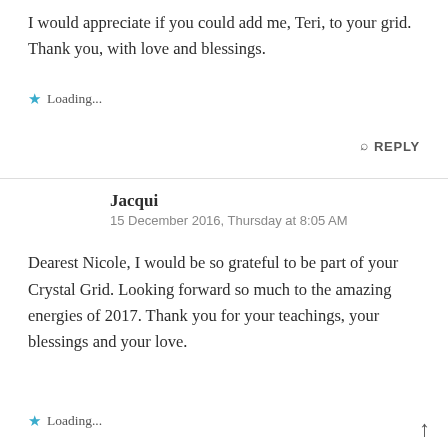I would appreciate if you could add me, Teri, to your grid. Thank you, with love and blessings.
★ Loading...
🔍 REPLY
Jacqui
15 December 2016, Thursday at 8:05 AM
Dearest Nicole, I would be so grateful to be part of your Crystal Grid. Looking forward so much to the amazing energies of 2017. Thank you for your teachings, your blessings and your love.
★ Loading...